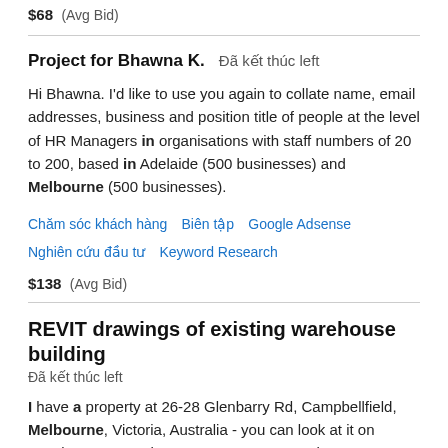$68  (Avg Bid)
Project for Bhawna K.  Đã kết thúc left
Hi Bhawna. I'd like to use you again to collate name, email addresses, business and position title of people at the level of HR Managers in organisations with staff numbers of 20 to 200, based in Adelaide (500 businesses) and Melbourne (500 businesses).
Chăm sóc khách hàng
Biên tập
Google Adsense
Nghiên cứu đầu tư
Keyword Research
$138  (Avg Bid)
REVIT drawings of existing warehouse building
Đã kết thúc left
I have a property at 26-28 Glenbarry Rd, Campbellfield, Melbourne, Victoria, Australia - you can look at it on google maps. On the property are two warehouse